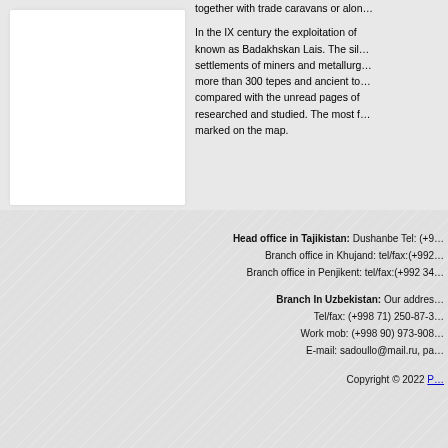together with trade caravans or alon...
In the IX century the exploitation of ... known as Badakhskan Lais. The sil... settlements of miners and metallurg... more than 300 tepes and ancient to... compared with the unread pages of ... researched and studied. The most f... marked on the map.
Head office in Tajikistan: Dushanbe Tel: (+9... Branch office in Khujand: tel/fax:(+992... Branch office in Penjikent: tel/fax:(+992 34... Branch In Uzbekistan: Our addres... Tel/fax: (+998 71) 250-87-3... Work mob: (+998 90) 973-908... E-mail: sadoullo@mail.ru, pa... Copyright © 2022